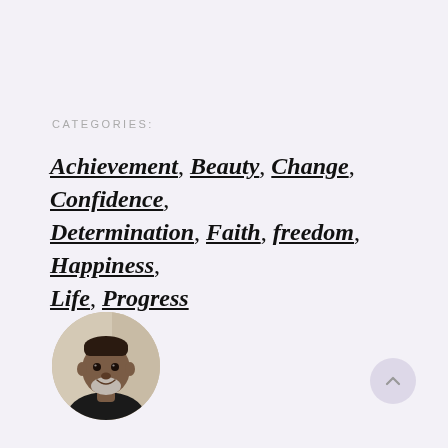CATEGORIES:
Achievement, Beauty, Change, Confidence, Determination, Faith, freedom, Happiness, Life, Progress
[Figure (photo): Circular cropped portrait photo of a man smiling, wearing a black shirt, with a light background.]